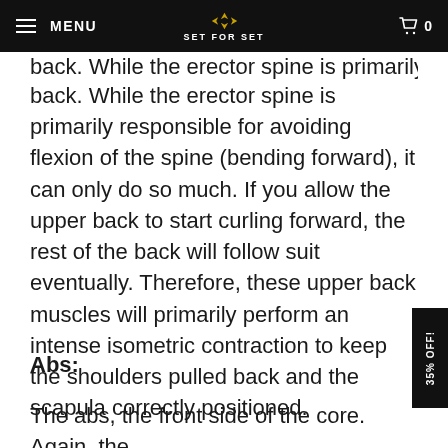MENU | SET FOR SET | 0
back. While the erector spine is primarily responsible for avoiding flexion of the spine (bending forward), it can only do so much. If you allow the upper back to start curling forward, the rest of the back will follow suit eventually. Therefore, these upper back muscles will primarily perform an intense isometric contraction to keep the shoulders pulled back and the scapula correctly positioned.
Abs:
The abs, the front side of the core. Again, the